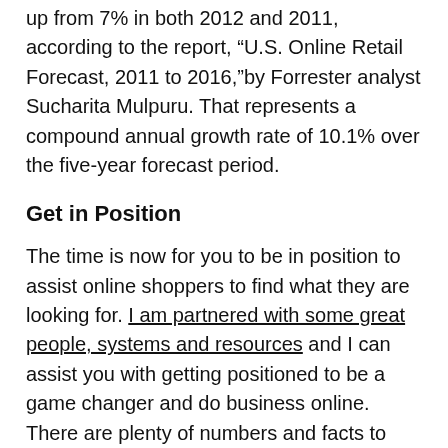up from 7% in both 2012 and 2011, according to the report, “U.S. Online Retail Forecast, 2011 to 2016,”by Forrester analyst Sucharita Mulpuru. That represents a compound annual growth rate of 10.1% over the five-year forecast period.
Get in Position
The time is now for you to be in position to assist online shoppers to find what they are looking for. I am partnered with some great people, systems and resources and I can assist you with getting positioned to be a game changer and do business online. There are plenty of numbers and facts to support this however at the end of the day, it’s truly Your Belief that it’s Possible!